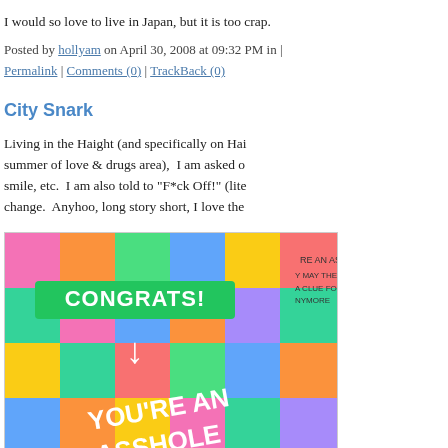I would so love to live in Japan, but it is too crap.
Posted by hollyam on April 30, 2008 at 09:32 PM in | Permalink | Comments (0) | TrackBack (0)
City Snark
Living in the Haight (and specifically on Hai summer of love & drugs area), I am asked o smile, etc. I am also told to "F*ck Off!" (lite change. Anyhoo, long story short, I love the
[Figure (photo): Colorful greeting card with text CONGRATS! YOU'RE AN ASSHOLE NOW LET'S DISCUSS WHY THAT IS]
(Image credit: Glarkware.com)
Urban Asshole Notification Cards come with such as: